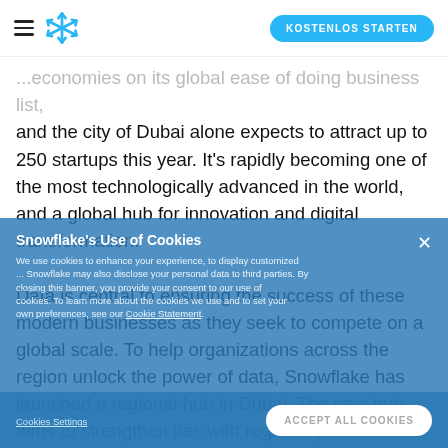KOSTENLOS STARTEN
...economies on its global ease of doing business list, and the city of Dubai alone expects to attract up to 250 startups this year. It's rapidly becoming one of the most technologically advanced in the world, and a global hub for innovation and digital transformation.

Data is central to ensuring the success of these modern businesses as they seek to compete on a global scale. To help organizations across the region unlock the power of data, Snowflake has launched a regional hub in Dubai. The new hub aims to strengthen ties with regional partners and customers and signals the company's firm commitment to serving the data needs of customers in the Middle East, Turkey, and Africa.
Snowflake's Use of Cookies
We use cookies to enhance your experience, to display customized ... closing this banner, you provide your consent to our use of cookies. To learn more about the cookies we use and to set your own preferences, see our Cookie Statement.
Cookies Settings   ACCEPT ALL COOKIES